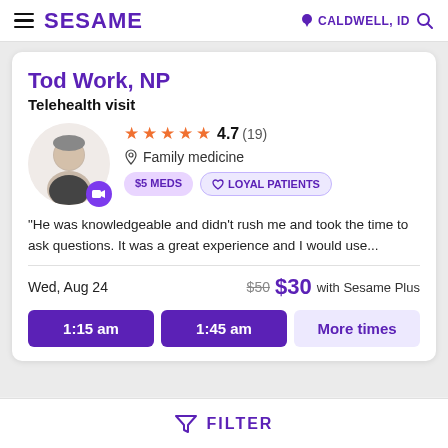SESAME | CALDWELL, ID
Tod Work, NP
Telehealth visit
[Figure (photo): Headshot photo of Tod Work, NP — a man in dark clothing, circular avatar with video camera badge]
★★★★★ 4.7 (19)
Family medicine
$5 MEDS   ♡ LOYAL PATIENTS
"He was knowledgeable and didn't rush me and took the time to ask questions. It was a great experience and I would use...
Wed, Aug 24
$50 $30 with Sesame Plus
1:15 am   1:45 am   More times
FILTER